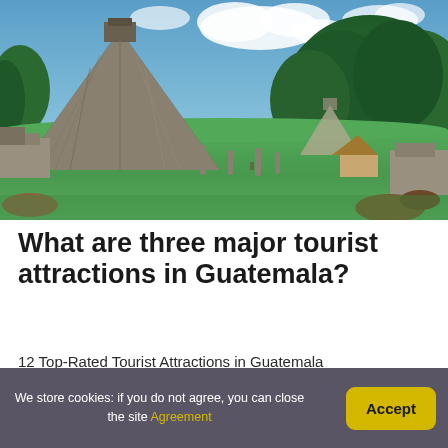[Figure (photo): Aerial view of Tikal Maya ruins in Guatemala showing a large stepped pyramid (Temple I) surrounded by green jungle, with stelae on the lawn, secondary ruins, and a hut to the right under a partly cloudy blue sky.]
What are three major tourist attractions in Guatemala?
12 Top-Rated Tourist Attractions in Guatemala
We store cookies: if you do not agree, you can close the site Agreement